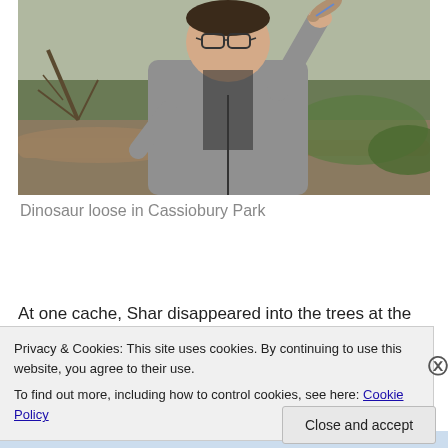[Figure (photo): A teenager with glasses wearing a grey hoodie, holding a small lizard or similar reptile up in the air, standing in a wooded park area with fallen logs and bare branches in the background.]
Dinosaur loose in Cassiobury Park
At one cache, Shar disappeared into the trees at the side
Privacy & Cookies: This site uses cookies. By continuing to use this website, you agree to their use.
To find out more, including how to control cookies, see here: Cookie Policy
Close and accept